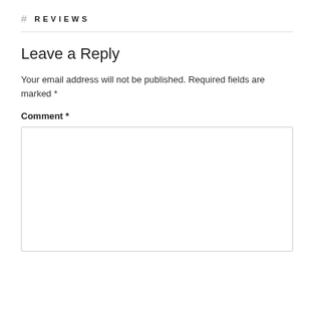# REVIEWS
Leave a Reply
Your email address will not be published. Required fields are marked *
Comment *